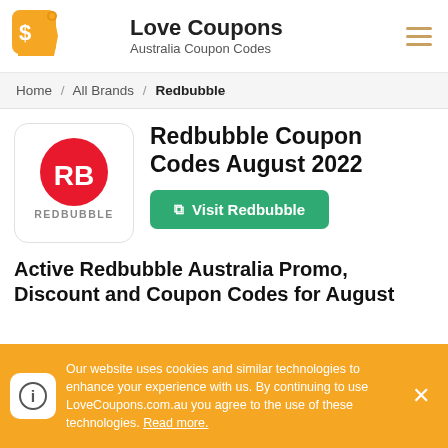Love Coupons — Australia Coupon Codes
Home / All Brands / Redbubble
Redbubble Coupon Codes August 2022
[Figure (logo): Redbubble logo: red circle with white RB letters, REDBUBBLE text below]
Visit Redbubble
Active Redbubble Australia Promo, Discount and Coupon Codes for August
Our website uses cookies and similar technologies to enhance your experience with us. By continuing to use LoveCoupons.com.au you agree to the use of these technologies. Read more.